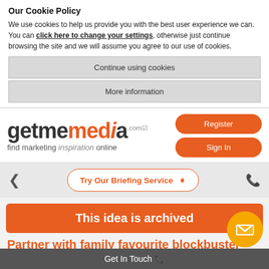Our Cookie Policy
We use cookies to help us provide you with the best user experience we can. You can click here to change your settings, otherwise just continue browsing the site and we will assume you agree to our use of cookies.
Continue using cookies
More information
[Figure (logo): getmemedia.com logo with tagline 'find marketing inspiration online']
Register
Sign In
Try Our Briefing Service ❯
This idea is archived
Partner with family favourite blockbuster
Get In Touch